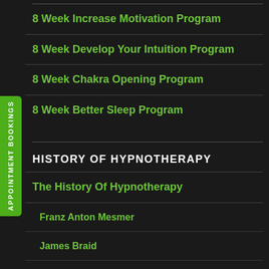8 Week Increase Motivation Program
8 Week Develop Your Intuition Program
8 Week Chakra Opening Program
8 Week Better Sleep Program
HISTORY OF HYPNOTHERAPY
The History Of Hypnotherapy
Franz Anton Mesmer
James Braid
Milton H. Erickson